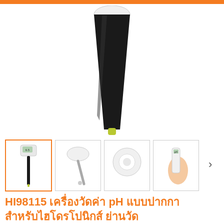[Figure (photo): Close-up of a black and white pH pen meter probe pointing downward against white background]
[Figure (photo): Four thumbnail images of HI98115 pH pen meter showing full device, probe detail, sensor head, and hand holding device. Active thumbnail is the first one showing full device view.]
HI98115 เครื่องวัดค่า pH แบบปากกา สำหรับไฮโดรโปนิกส์ ย่านวัด